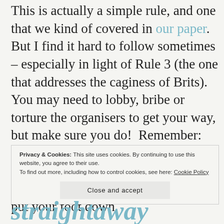This is actually a simple rule, and one that we kind of covered in our paper. But I find it hard to follow sometimes – especially in light of Rule 3 (the one that addresses the caginess of Brits). You may need to lobby, bribe or torture the organisers to get your way, but make sure you do!  Remember: your name and reputation is at stake, so if you want this to be the best workshop it can be, you may have to put your foot down.
Privacy & Cookies: This site uses cookies. By continuing to use this website, you agree to their use. To find out more, including how to control cookies, see here: Cookie Policy
Close and accept
straightaway